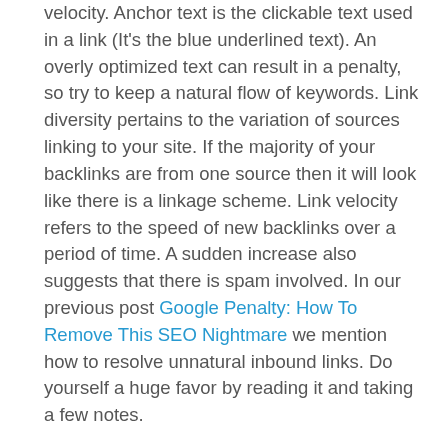velocity. Anchor text is the clickable text used in a link (It's the blue underlined text). An overly optimized text can result in a penalty, so try to keep a natural flow of keywords. Link diversity pertains to the variation of sources linking to your site. If the majority of your backlinks are from one source then it will look like there is a linkage scheme. Link velocity refers to the speed of new backlinks over a period of time. A sudden increase also suggests that there is spam involved. In our previous post Google Penalty: How To Remove This SEO Nightmare we mention how to resolve unnatural inbound links. Do yourself a huge favor by reading it and taking a few notes.
Once you've fixed this issue on your site it's then time to play the waiting game. Sadly, submitting a review request like manual actions will not speedup the penalty removal process. The team at Google who reviews sites cannot change algorithms or run them again solely for your site so you'll just have to